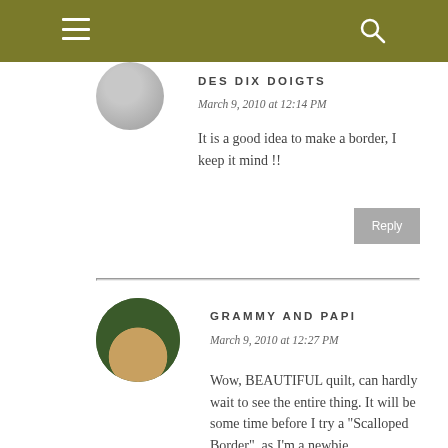DES DIX DOIGTS
March 9, 2010 at 12:14 PM
It is a good idea to make a border, I keep it mind !!
GRAMMY AND PAPI
March 9, 2010 at 12:27 PM
Wow, BEAUTIFUL quilt, can hardly wait to see the entire thing. It will be some time before I try a "Scalloped Border", as I'm a newbie